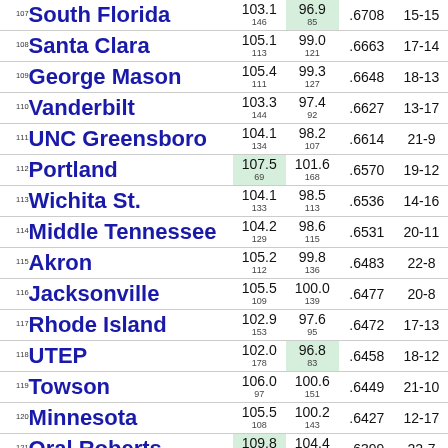| Rank | Team | Off | Def | Pct | Record |
| --- | --- | --- | --- | --- | --- |
| 107 | South Florida | 103.1
146 | 96.9
85 | .6708 | 15-15 |
| 108 | Santa Clara | 105.1
113 | 99.0
121 | .6663 | 17-14 |
| 109 | George Mason | 105.4
111 | 99.3
127 | .6648 | 18-13 |
| 110 | Vanderbilt | 103.3
144 | 97.4
92 | .6627 | 13-17 |
| 111 | UNC Greensboro | 104.1
134 | 98.2
107 | .6614 | 21-9 |
| 112 | Portland | 107.5
69 | 101.6
168 | .6570 | 19-12 |
| 113 | Wichita St. | 104.1
133 | 98.5
113 | .6536 | 14-16 |
| 114 | Middle Tennessee | 104.2
129 | 98.6
115 | .6531 | 20-11 |
| 115 | Akron | 105.2
112 | 99.8
136 | .6483 | 22-8 |
| 116 | Jacksonville | 105.5
109 | 100.0
139 | .6477 | 20-8 |
| 117 | Rhode Island | 102.9
153 | 97.6
95 | .6472 | 17-13 |
| 118 | UTEP | 102.0
178 | 96.8
83 | .6458 | 18-12 |
| 119 | Towson | 106.0
97 | 100.6
151 | .6449 | 21-10 |
| 120 | Minnesota | 105.5
108 | 100.2
143 | .6427 | 12-17 |
| 121 | Oral Roberts | 109.8
41 | 104.4
229 | .6399 | 22-7 |